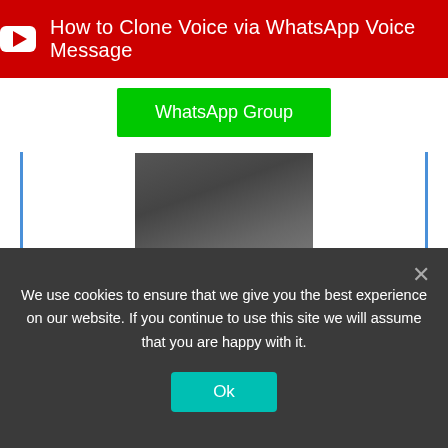[Figure (screenshot): YouTube video banner with red background and white YouTube play button icon, text: How to Clone Voice via WhatsApp Voice Message]
[Figure (screenshot): Green WhatsApp Group button]
[Figure (photo): Profile photo of Octavio Mares, a person dressed in dark clothing outdoors]
Octavio Mares
He is a well-known expert in mobile security and malware analysis. He studied Computer Science at NYU and started working as a cyber security analyst in 2003. He is actively working as an anti-malware expert. He also worked for security companies like Kaspersky Lab. His everyday job includes researching about new malware and cyber security incidents. Also he has deep level of knowledge in mobile security and mobile
We use cookies to ensure that we give you the best experience on our website. If you continue to use this site we will assume that you are happy with it.